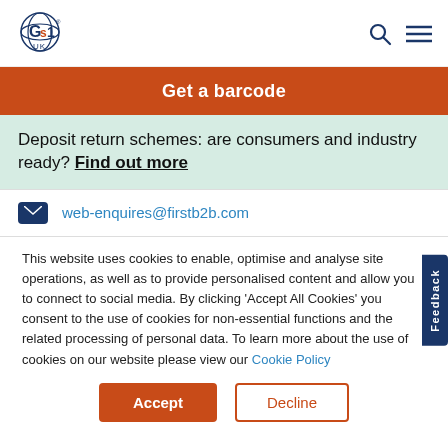GS1 UK logo, search icon, menu icon
Get a barcode
Deposit return schemes: are consumers and industry ready? Find out more
web-enquires@firstb2b.com
This website uses cookies to enable, optimise and analyse site operations, as well as to provide personalised content and allow you to connect to social media. By clicking 'Accept All Cookies' you consent to the use of cookies for non-essential functions and the related processing of personal data. To learn more about the use of cookies on our website please view our Cookie Policy
Accept | Decline